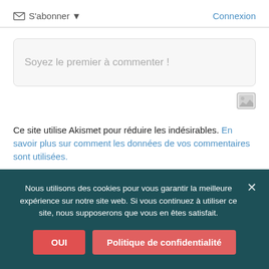S'abonner ▼
Connexion
Soyez le premier à commenter !
[Figure (illustration): Image icon button (small landscape photo icon)]
Ce site utilise Akismet pour réduire les indésirables. En savoir plus sur comment les données de vos commentaires sont utilisées.
0 COMMENTAIRES
Nous utilisons des cookies pour vous garantir la meilleure expérience sur notre site web. Si vous continuez à utiliser ce site, nous supposerons que vous en êtes satisfait.
OUI
Politique de confidentialité